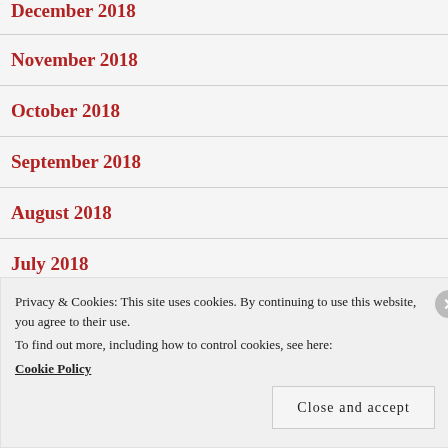December 2018
November 2018
October 2018
September 2018
August 2018
July 2018
Privacy & Cookies: This site uses cookies. By continuing to use this website, you agree to their use.
To find out more, including how to control cookies, see here:
Cookie Policy
Close and accept